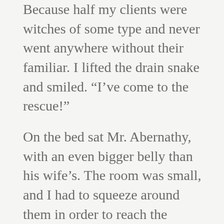Because half my clients were witches of some type and never went anywhere without their familiar. I lifted the drain snake and smiled. “I’ve come to the rescue!”
On the bed sat Mr. Abernathy, with an even bigger belly than his wife’s. The room was small, and I had to squeeze around them in order to reach the bathtub my ex-husband thought would attract guests. Each room had a tub right near the foot of their bed.
Honestly, I don’t think that’s what drew my customers. It was more that Moonstruck Manor was the only bed and breakfast that catered to the supernatural, this side of the Mississippi. We were listed on the paranormal web and when the